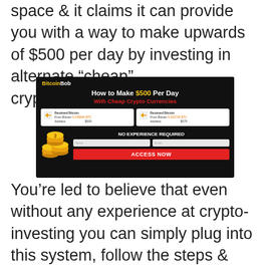space & it claims it can provide you with a way to make upwards of $500 per day by investing in alternate “cheap” cryptocurrencies.
[Figure (screenshot): BitcoinBob advertisement: 'How to Make $500 Per Day With Cheap Crypto Currencies'. Shows two Bitcoin received notifications, coin graphics, 'NO EXPERIENCE REQUIRED' text, name/email input fields, and a red 'ACCESS NOW' button.]
You’re led to believe that even without any experience at crypto-investing you can simply plug into this system, follow the steps & learn how to start making money.